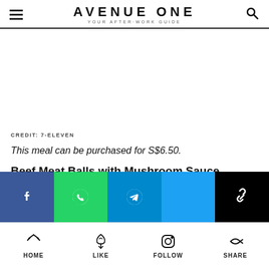AVENUE ONE — YOUR AFTER-WORK GUIDE
CREDIT: 7-ELEVEN
This meal can be purchased for S$6.50.
Beef Meat Balls with Mushroom Sauce
[Figure (infographic): Social sharing bar with Facebook, WhatsApp, Telegram, Twitter, and copy-link buttons]
HOME  LIKE  FOLLOW  SHARE